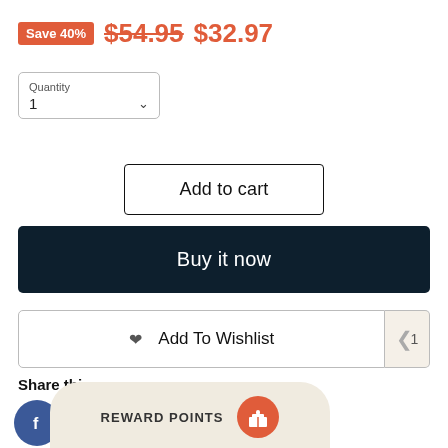Save 40% $54.95 $32.97
Quantity 1
Add to cart
Buy it now
Add To Wishlist
Share this:
[Figure (infographic): Social share icons: Facebook, Twitter, LinkedIn, Pinterest]
REWARD POINTS